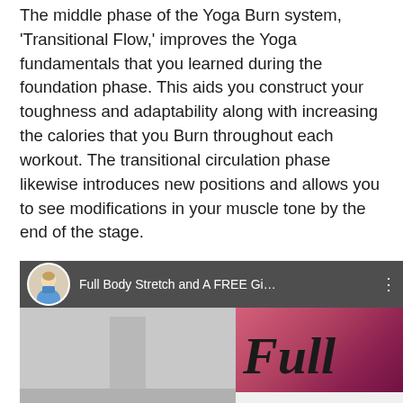The middle phase of the Yoga Burn system, 'Transitional Flow,' improves the Yoga fundamentals that you learned during the foundation phase. This aids you construct your toughness and adaptability along with increasing the calories that you Burn throughout each workout. The transitional circulation phase likewise introduces new positions and allows you to see modifications in your muscle tone by the end of the stage.
[Figure (screenshot): A YouTube video thumbnail showing 'Full Body Stretch and A FREE Gi...' with a circular avatar of a woman in a blue top, a dark overlay top bar with title and three-dot menu. The main area shows a grey background on the left and a pink/mauve gradient on the right with large italic text reading 'Full' in black.]